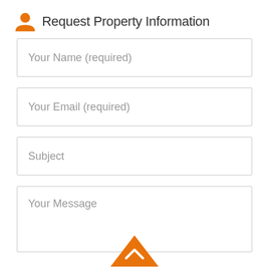Request Property Information
Your Name (required)
Your Email (required)
Subject
Your Message
[Figure (illustration): Orange house/caret icon at bottom center]